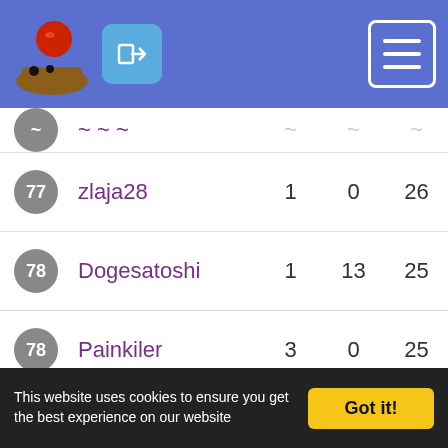[Figure (screenshot): Top navigation bar with game logo, login button, and hamburger menu on blue background]
| Rank | Username | Col1 | Col2 | Points |
| --- | --- | --- | --- | --- |
| ~ | ~ | ~ | ~ | ~ |
| 77 | zlaja28 | 1 | 0 | 26 |
| 78 | Dogesatoshi | 1 | 13 | 25 |
| 78 | Painkiler | 3 | 0 | 25 |
| 78 | jab4a | 2 | 54 | 25 |
| 78 | Creloxp | 2 | 3 | 25 |
| 78 | turist392 | 2 | 11 | 25 |
| 79 | evgesha0906 | 2 | 0 | 23 |
| 79 | kalvpa | 2 | 12 | 23 |
| 79 | igorek12 | 1 | 9 | 23 |
This website uses cookies to ensure you get the best experience on our website